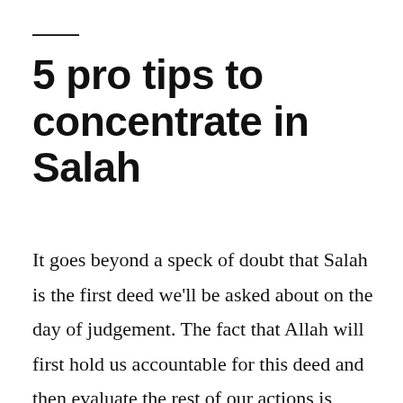5 pro tips to concentrate in Salah
It goes beyond a speck of doubt that Salah is the first deed we'll be asked about on the day of judgement. The fact that Allah will first hold us accountable for this deed and then evaluate the rest of our actions is enough to emphasize its significance. Pass the first step